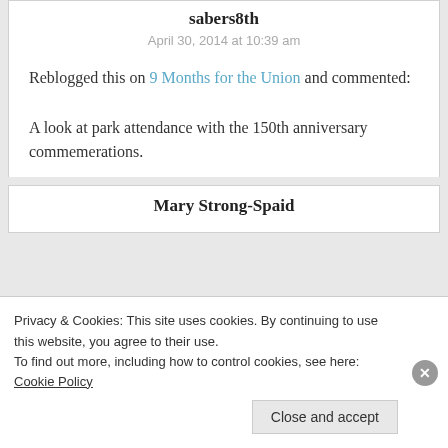sabers8th
April 30, 2014 at 10:39 am
Reblogged this on 9 Months for the Union and commented:
A look at park attendance with the 150th anniversary commemerations.
Mary Strong-Spaid
Privacy & Cookies: This site uses cookies. By continuing to use this website, you agree to their use.
To find out more, including how to control cookies, see here: Cookie Policy
Close and accept